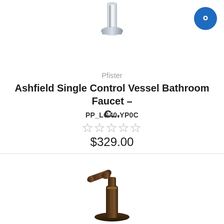[Figure (photo): Chrome vessel bathroom faucet (top portion), modern cylindrical design with polished chrome finish]
Pfister
Ashfield Single Control Vessel Bathroom Faucet - C...
PP_LG40-YP0C
[Figure (other): Five empty/outline star rating icons indicating no reviews]
$329.00
[Figure (photo): Oil-rubbed bronze vessel bathroom faucet with pump-style lever handle, vintage design with dark bronze finish]